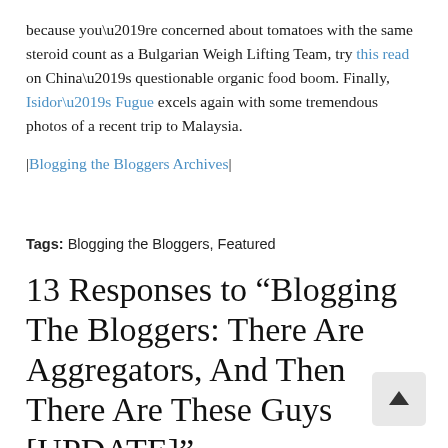because you’re concerned about tomatoes with the same steroid count as a Bulgarian Weigh Lifting Team, try this read on China’s questionable organic food boom. Finally, Isidor’s Fugue excels again with some tremendous photos of a recent trip to Malaysia.
|Blogging the Bloggers Archives|
Tags: Blogging the Bloggers, Featured
13 Responses to “Blogging The Bloggers: There Are Aggregators, And Then There Are These Guys [UPDATE]”